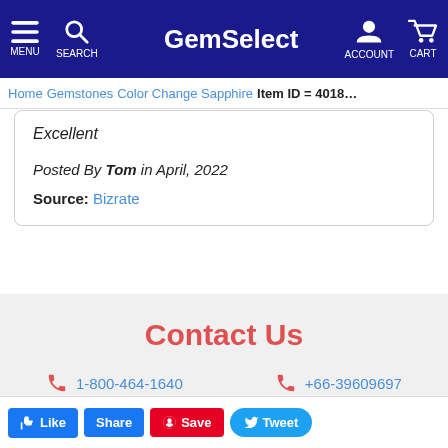GemSelect — MENU SEARCH ACCOUNT CART
Home > Gemstones > Color Change Sapphire  Item ID = 4018...
Excellent
Posted By Tom in April, 2022
Source: Bizrate
Contact Us
1-800-464-1640
+66-39609697
Email Us
My Account